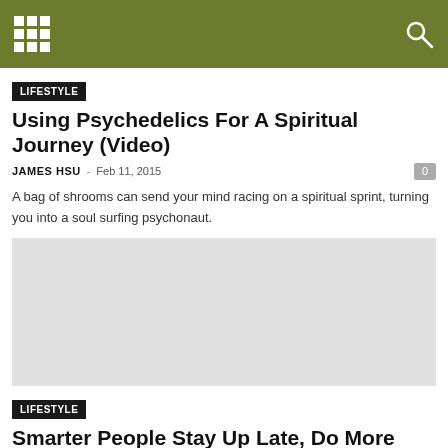LIFESTYLE
Using Psychedelics For A Spiritual Journey (Video)
JAMES HSU - Feb 11, 2015
A bag of shrooms can send your mind racing on a spiritual sprint, turning you into a soul surfing psychonaut.
[Figure (photo): Article image placeholder for first article]
LIFESTYLE
Smarter People Stay Up Late, Do More Drugs, and Have More Sex (Study)
VLAD - Jan 14, 2015